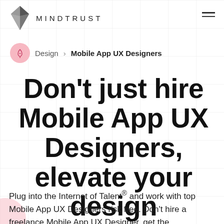MINDTRUST
Design > Mobile App UX Designers
Don’t just hire Mobile App UX Designers, elevate your design
Plug into the Internet of Talent® and work with top Mobile App UX Designers risk free. Don’t hire a freelance Mobile App UX Designer, get the